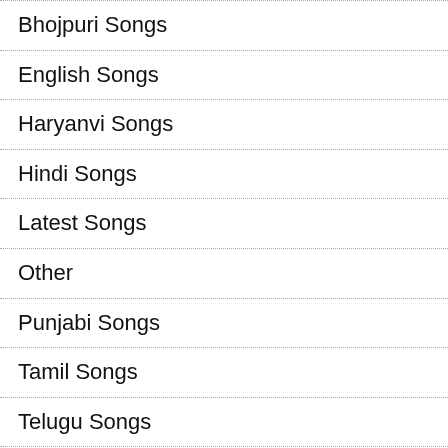Bhojpuri Songs
English Songs
Haryanvi Songs
Hindi Songs
Latest Songs
Other
Punjabi Songs
Tamil Songs
Telugu Songs
TikTok Viral Songs
Unicode To Chanakya